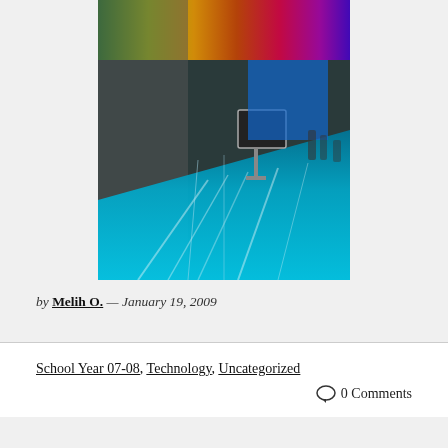[Figure (photo): Indoor venue photo showing a glowing blue-lit floor/runway with colorful stained glass or LED panels on the ceiling, a monitor on a stand in the background, and exhibition hall environment.]
by Melih O. — January 19, 2009
School Year 07-08, Technology, Uncategorized
0 Comments